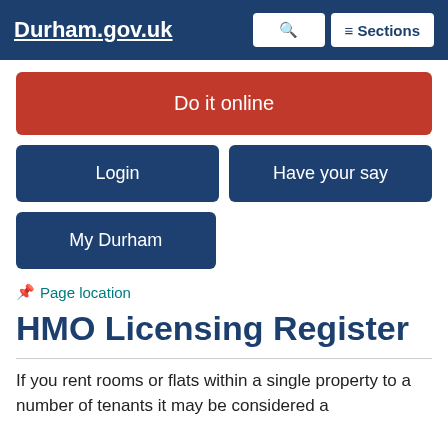Durham.gov.uk
Do it online
Login
Have your say
My Durham
📌 Page location
HMO Licensing Register
If you rent rooms or flats within a single property to a number of tenants it may be considered a